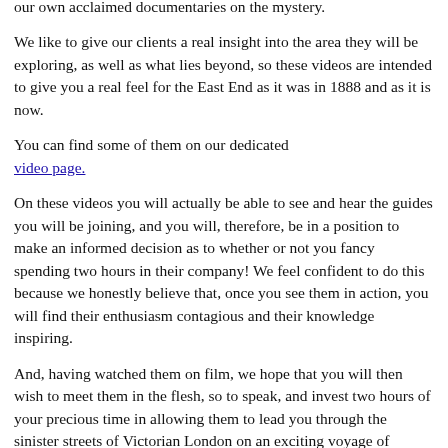…we remain the only one of the best Jack the Ripper walks to have made our own acclaimed documentaries on the mystery.
We like to give our clients a real insight into the area they will be exploring, as well as what lies beyond, so these videos are intended to give you a real feel for the East End as it was in 1888 and as it is now.
You can find some of them on our dedicated video page.
On these videos you will actually be able to see and hear the guides you will be joining, and you will, therefore, be in a position to make an informed decision as to whether or not you fancy spending two hours in their company! We feel confident to do this because we honestly believe that, once you see them in action, you will find their enthusiasm contagious and their knowledge inspiring.
And, having watched them on film, we hope that you will then wish to meet them in the flesh, so to speak, and invest two hours of your precious time in allowing them to lead you through the sinister streets of Victorian London on an exciting voyage of genuine discovery that will provide you with an unrivalled insight into the Jack the Ripper murders of 1888.